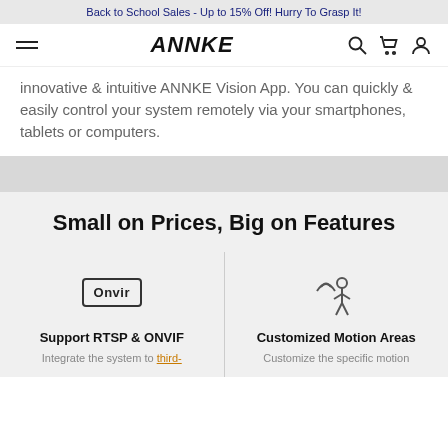Back to School Sales - Up to 15% Off! Hurry To Grasp It!
[Figure (logo): ANNKE brand navigation bar with hamburger menu, ANNKE logo, search, cart, and user icons]
innovative & intuitive ANNKE Vision App. You can quickly & easily control your system remotely via your smartphones, tablets or computers.
Small on Prices, Big on Features
[Figure (logo): ONVIF logo in a bordered box]
Support RTSP & ONVIF
Integrate the system to third-
[Figure (illustration): Motion detection icon showing a person with signal waves]
Customized Motion Areas
Customize the specific motion